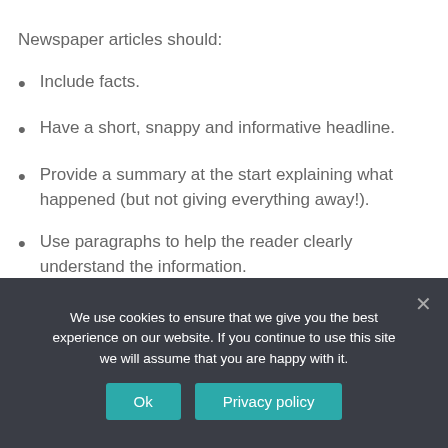Newspaper articles should:
Include facts.
Have a short, snappy and informative headline.
Provide a summary at the start explaining what happened (but not giving everything away!).
Use paragraphs to help the reader clearly understand the information.
Provide quotes to show people's opinions about the event.
We use cookies to ensure that we give you the best experience on our website. If you continue to use this site we will assume that you are happy with it.